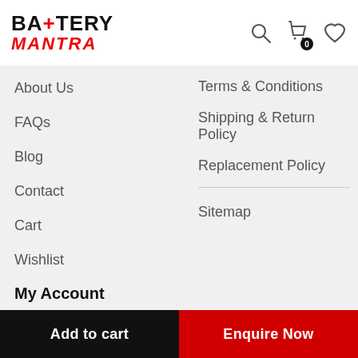BATTERY MANTRA — logo with search, cart (0), and wishlist icons
About Us
Terms & Conditions
FAQs
Shipping & Return Policy
Blog
Replacement Policy
Contact
Sitemap
Cart
Wishlist
My Account
Login
Register
Add to cart | Enquire Now